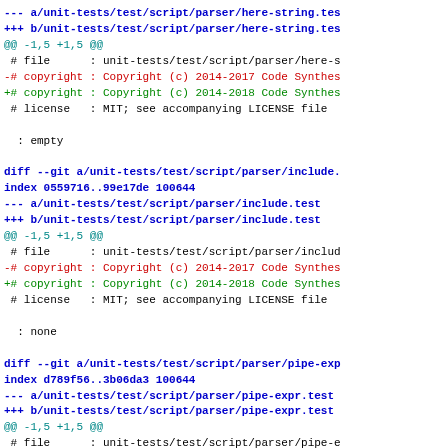--- a/unit-tests/test/script/parser/here-string.tes
+++ b/unit-tests/test/script/parser/here-string.tes
@@ -1,5 +1,5 @@
 # file      : unit-tests/test/script/parser/here-s
 -# copyright : Copyright (c) 2014-2017 Code Synthes
 +# copyright : Copyright (c) 2014-2018 Code Synthes
 # license   : MIT; see accompanying LICENSE file

   : empty

diff --git a/unit-tests/test/script/parser/include.
index 0559716..99e17de 100644
--- a/unit-tests/test/script/parser/include.test
+++ b/unit-tests/test/script/parser/include.test
@@ -1,5 +1,5 @@
 # file      : unit-tests/test/script/parser/includ
 -# copyright : Copyright (c) 2014-2017 Code Synthes
 +# copyright : Copyright (c) 2014-2018 Code Synthes
 # license   : MIT; see accompanying LICENSE file

   : none

diff --git a/unit-tests/test/script/parser/pipe-exp
index d789f56..3b06da3 100644
--- a/unit-tests/test/script/parser/pipe-expr.test
+++ b/unit-tests/test/script/parser/pipe-expr.test
@@ -1,5 +1,5 @@
 # file      : unit-tests/test/script/parser/pipe-e
 -# copyright : Copyright (c) 2014-2017 Code Synthes
 +# copyright : Copyright (c) 2014-2018 Code Synthes